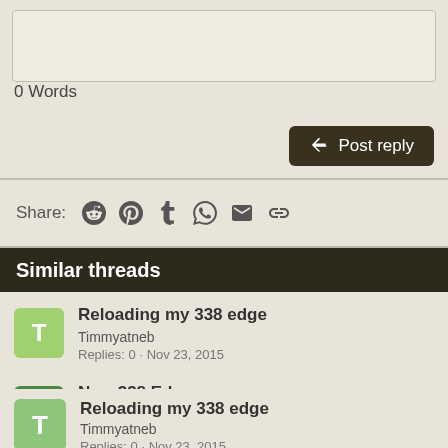0 Words
Post reply
Share:
Similar threads
Reloading my 338 edge
Timmyatneb
Replies: 0 · Nov 23, 2015
New 338 Edge
Willy 1
Replies: 3 · Feb 11, 2007
How to tighten up my group.
letty15